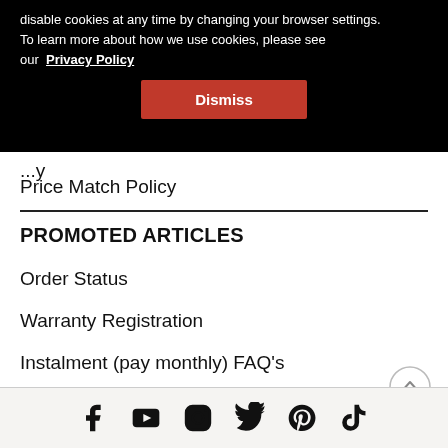disable cookies at any time by changing your browser settings. To learn more about how we use cookies, please see our Privacy Policy
Dismiss
Price Match Policy
PROMOTED ARTICLES
Order Status
Warranty Registration
Instalment (pay monthly) FAQ's
Social media icons: Facebook, YouTube, Instagram, Twitter, Pinterest, TikTok